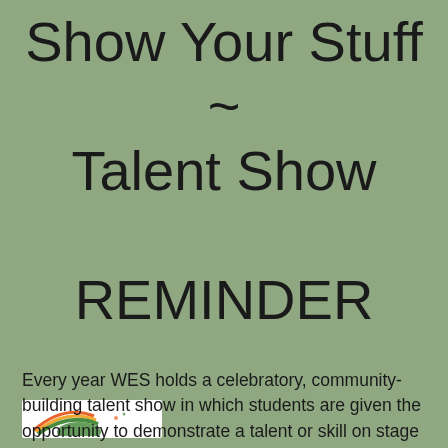Show Your Stuff ~ Talent Show REMINDER
[Figure (logo): School or organization logo with rainbow arc graphic on white background]
Every year WES holds a celebratory, community-building talent show in which students are given the opportunity to demonstrate a talent or skill on stage at the Town Hall Theater. This year we invite our Prosper Valley School friends to join us in creating an EPIC show! Friendship groups between Prosper Valley and Woodstock Elementary